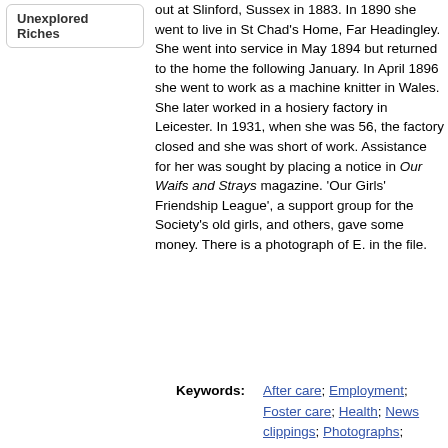Unexplored Riches
out at Slinford, Sussex in 1883. In 1890 she went to live in St Chad's Home, Far Headingley. She went into service in May 1894 but returned to the home the following January. In April 1896 she went to work as a machine knitter in Wales. She later worked in a hosiery factory in Leicester. In 1931, when she was 56, the factory closed and she was short of work. Assistance for her was sought by placing a notice in Our Waifs and Strays magazine. 'Our Girls' Friendship League', a support group for the Society's old girls, and others, gave some money. There is a photograph of E. in the file.
Keywords: After care; Employment; Foster care; Health; News clippings; Photographs;